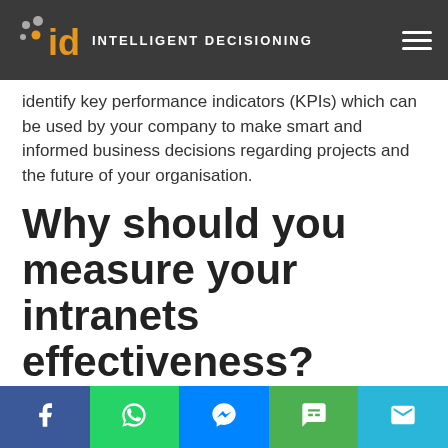INTELLIGENT DECISIONING
identify key performance indicators (KPIs) which can be used by your company to make smart and informed business decisions regarding projects and the future of your organisation.
Why should you measure your intranets effectiveness?
Facebook | WhatsApp | Messenger | SMS | Email